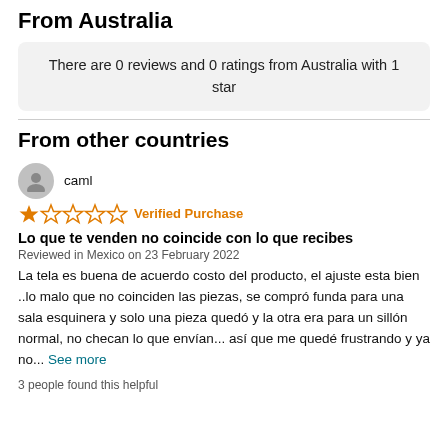From Australia
There are 0 reviews and 0 ratings from Australia with 1 star
From other countries
caml
★☆☆☆☆ Verified Purchase
Lo que te venden no coincide con lo que recibes
Reviewed in Mexico on 23 February 2022
La tela es buena de acuerdo costo del producto, el ajuste esta bien ..lo malo que no coinciden las piezas, se compró funda para una sala esquinera y solo una pieza quedó y la otra era para un sillón normal, no checan lo que envían... así que me quedé frustrando y ya no... See more
3 people found this helpful